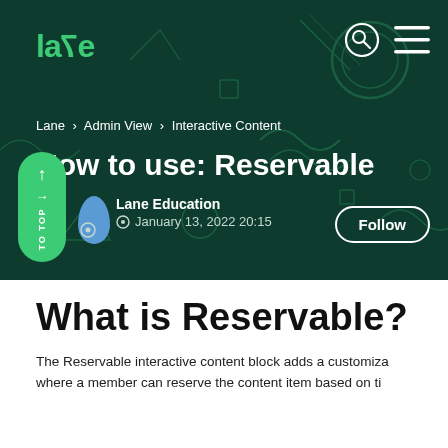lane
Lane › Admin View › Interactive Content
How to use: Reservable
Lane Education
January 13, 2022 20:15
What is Reservable?
The Reservable interactive content block adds a customiza where a member can reserve the content item based on ti